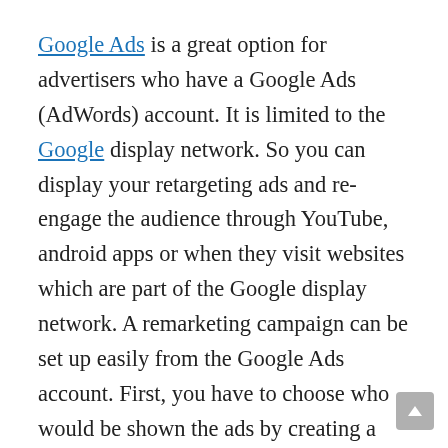Google Ads is a great option for advertisers who have a Google Ads (AdWords) account. It is limited to the Google display network. So you can display your retargeting ads and re-engage the audience through YouTube, android apps or when they visit websites which are part of the Google display network. A remarketing campaign can be set up easily from the Google Ads account. First, you have to choose who would be shown the ads by creating a remarketing list. You can target people on the basis of their actions, time of visit or the page they landed on. Next, you have to create a new campaign and then add the remarketing tag to your website. This will display ads online to